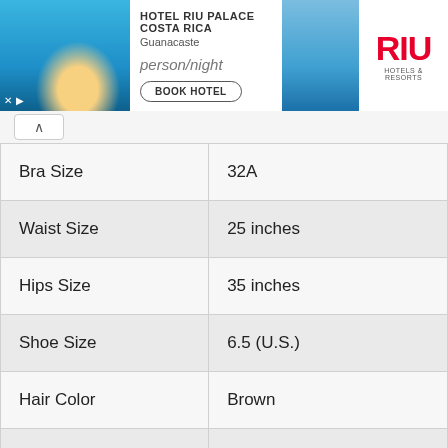[Figure (other): Hotel RIU Palace Costa Rica advertisement banner showing hotel pool/beach images, hotel name, location (Guanacaste), price per night, book hotel button, and RIU Hotels & Resorts logo]
| Bra Size | 32A |
| Waist Size | 25 inches |
| Hips Size | 35 inches |
| Shoe Size | 6.5 (U.S.) |
| Hair Color | Brown |
| Eye Color | Brown |